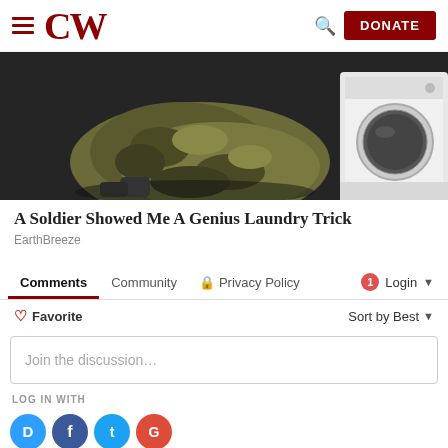CW | DONATE
[Figure (photo): Military camouflage uniform/bag on dark floor next to a white washing machine]
A Soldier Showed Me A Genius Laundry Trick
EarthBreeze
Comments   Community   🔒 Privacy Policy   1   Login ▾
♡ Favorite   Sort by Best ▾
Join the discussion…
LOG IN WITH